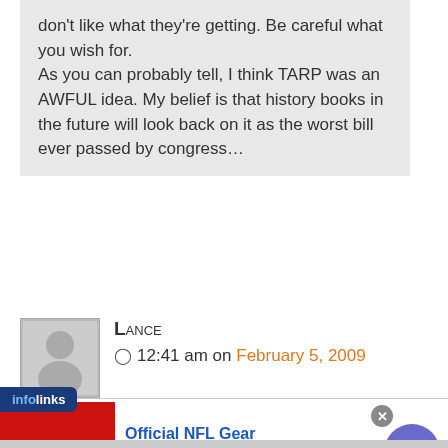don't like what they're getting. Be careful what you wish for.

As you can probably tell, I think TARP was an AWFUL idea. My belief is that history books in the future will look back on it as the worst bill ever passed by congress…
Lance
12:41 am on February 5, 2009
[Figure (other): Generic user avatar placeholder image (silhouette of person on gray background)]
Official NFL Gear
Get Your Favorite Team's Gear Here
www.nflshop.com
[Figure (other): Advertisement banner for Official NFL Gear with red background showing '30% OFF']